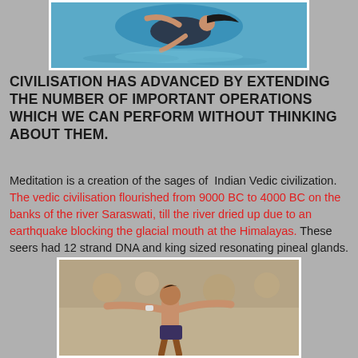[Figure (photo): A diver or swimmer curled in mid-air above blue water, wearing a dark swimsuit with hair swept back.]
CIVILISATION HAS ADVANCED BY EXTENDING THE NUMBER OF IMPORTANT OPERATIONS WHICH WE CAN PERFORM WITHOUT THINKING ABOUT THEM.
Meditation is a creation of the sages of Indian Vedic civilization. The vedic civilisation flourished from 9000 BC to 4000 BC on the banks of the river Saraswati, till the river dried up due to an earthquake blocking the glacial mouth at the Himalayas. These seers had 12 strand DNA and king sized resonating pineal glands.
[Figure (photo): A male athlete with arms outstretched, performing a sporting action, with a blurred crowd in the background.]